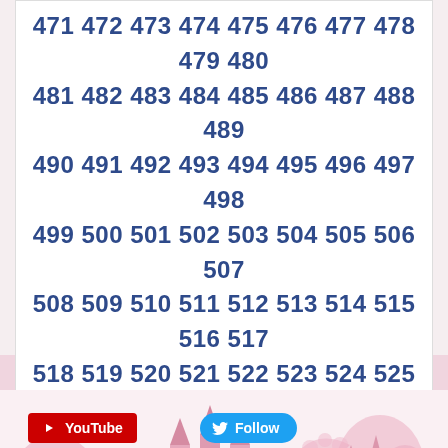471 472 473 474 475 476 477 478 479 480 481 482 483 484 485 486 487 488 489 490 491 492 493 494 495 496 497 498 499 500 501 502 503 504 505 506 507 508 509 510 511 512 513 514 515 516 517 518 519 520 521 522 523 524 525 526 527 528 529 530 531 532
[Figure (illustration): Pink decorative banner/strip with Disney-style castle silhouettes]
[Figure (illustration): YouTube red subscribe button]
[Figure (illustration): Twitter blue Follow button]
[Figure (illustration): Large pink Disney princess castle and fairy-tale scene silhouette background illustration]